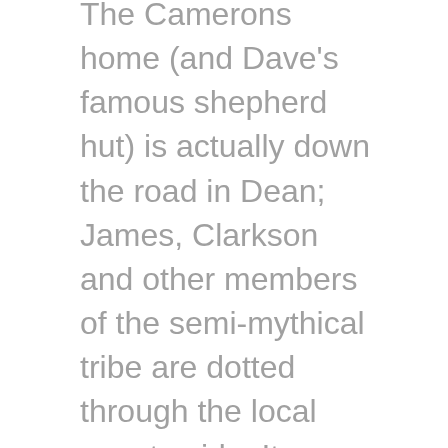The Camerons home (and Dave's famous shepherd hut) is actually down the road in Dean; James, Clarkson and other members of the semi-mythical tribe are dotted through the local countryside. It seems that no members of the Chipping Norton set actually live in Chipping Norton proper – just close enough to have sullied its reputation.
In fact, the CNS appear to have been keeping a low profile in recent times, but now they have some new pals. Leaping aboard the downwards-slope-of-2000s-celebrity bandwagon, the